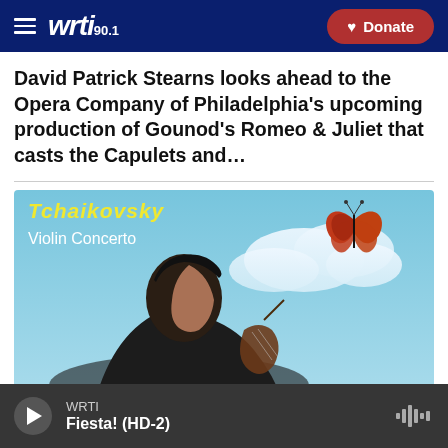WRTI 90.1 | Donate
David Patrick Stearns looks ahead to the Opera Company of Philadelphia's upcoming production of Gounod's Romeo & Juliet that casts the Capulets and…
[Figure (photo): Album cover for Tchaikovsky Violin Concerto showing a musician holding a violin looking upward at a sky with clouds and a butterfly. Text reads 'Tchaikovsky Violin Concerto'.]
WRTI
Fiesta! (HD-2)